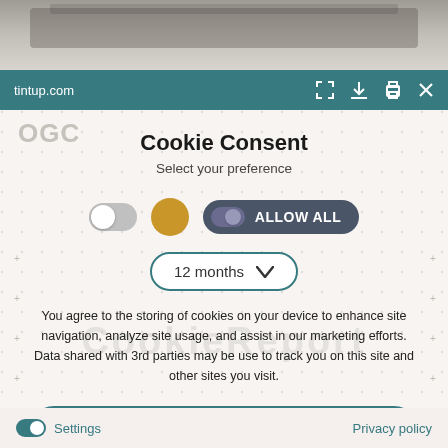[Figure (screenshot): Top portion of a browser screenshot showing a laptop/keyboard image.]
tintup.com
Cookie Consent
Select your preference
[Figure (infographic): Three toggle/button controls: a grey off-toggle, a gold circle, and an 'ALLOW ALL' dark toggle button.]
[Figure (infographic): A dropdown selector showing '12 months' with a chevron arrow, styled with a teal border and rounded corners.]
You agree to the storing of cookies on your device to enhance site navigation, analyze site usage, and assist in our marketing efforts. Data shared with 3rd parties may be use to track you on this site and other sites you visit.
[Figure (infographic): A teal 'Save my preferences' rounded button.]
Settings   Privacy policy